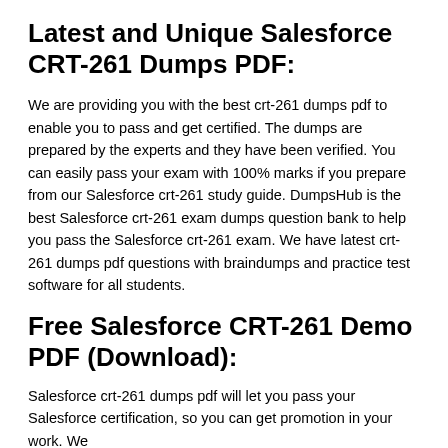Latest and Unique Salesforce CRT-261 Dumps PDF:
We are providing you with the best crt-261 dumps pdf to enable you to pass and get certified. The dumps are prepared by the experts and they have been verified. You can easily pass your exam with 100% marks if you prepare from our Salesforce crt-261 study guide. DumpsHub is the best Salesforce crt-261 exam dumps question bank to help you pass the Salesforce crt-261 exam. We have latest crt-261 dumps pdf questions with braindumps and practice test software for all students.
Free Salesforce CRT-261 Demo PDF (Download):
Salesforce crt-261 dumps pdf will let you pass your Salesforce certification, so you can get promotion in your work. We